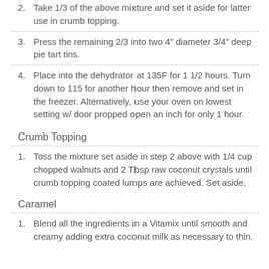2. Take 1/3 of the above mixture and set it aside for latter use in crumb topping.
3. Press the remaining 2/3 into two 4″ diameter 3/4″ deep pie tart tins.
4. Place into the dehydrator at 135F for 1 1/2 hours. Turn down to 115 for another hour then remove and set in the freezer. Alternatively, use your oven on lowest setting w/ door propped open an inch for only 1 hour.
Crumb Topping
1. Toss the mixture set aside in step 2 above with 1/4 cup chopped walnuts and 2 Tbsp raw coconut crystals until crumb topping coated lumps are achieved. Set aside.
Caramel
1. Blend all the ingredients in a Vitamix until smooth and creamy adding extra coconut milk as necessary to thin.